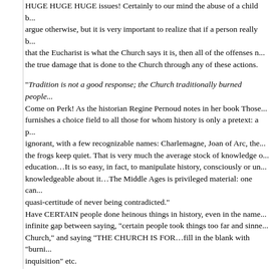HUGE HUGE HUGE issues! Certainly to our mind the abuse of a child b... argue otherwise, but it is very important to realize that if a person really b... that the Eucharist is what the Church says it is, then all of the offenses n... the true damage that is done to the Church through any of these actions.
"Tradition is not a good response; the Church traditionally burned people... Come on Perk! As the historian Regine Pernoud notes in her book Those... furnishes a choice field to all those for whom history is only a pretext: a p... ignorant, with a few recognizable names: Charlemagne, Joan of Arc, the... the frogs keep quiet. That is very much the average stock of knowledge o... education…It is so easy, in fact, to manipulate history, consciously or un... knowledgeable about it…The Middle Ages is privileged material: one can... quasi-certitude of never being contradicted."
Have CERTAIN people done heinous things in history, even in the name... infinite gap between saying, "certain people took things too far and sinne... Church," and saying "THE CHURCH IS FOR…fill in the blank with "burni... inquisition" etc.
A fantastic book that I would also recommend to you is Atheist Delusions... who regularly writes for First Things and other philosophical and historica... went, Western humanity was the cosseted and incurious ward of Mother... culture stagnated, science languished, wars of religion were routinely wa... and Western humanity labored in brutish subjugation to dogma, supersti... state; …inquiry was stifled; the literary remains of classical antiquity had... faith, and even the great achievements of "Greek science" were forgotten... West. All was darkness…Galileo almost invariably occupies an honored...